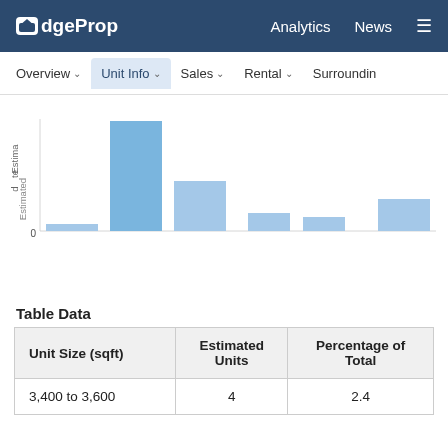EdgeProp | Analytics  News
Overview ∨  Unit Info ∨  Sales ∨  Rental ∨  Surroundin
[Figure (histogram): Estimated Units by Size]
Table Data
| Unit Size (sqft) | Estimated
Units | Percentage of
Total |
| --- | --- | --- |
| 3,400 to 3,600 | 4 | 2.4 |